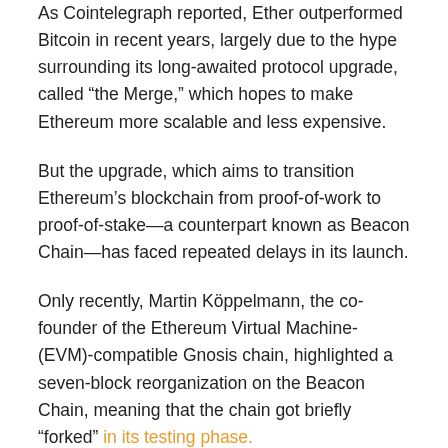As Cointelegraph reported, Ether outperformed Bitcoin in recent years, largely due to the hype surrounding its long-awaited protocol upgrade, called “the Merge,” which hopes to make Ethereum more scalable and less expensive.
But the upgrade, which aims to transition Ethereum’s blockchain from proof-of-work to proof-of-stake—a counterpart known as Beacon Chain—has faced repeated delays in its launch.
Only recently, Martin Köppelmann, the co-founder of the Ethereum Virtual Machine- (EVM)-compatible Gnosis chain, highlighted a seven-block reorganization on the Beacon Chain, meaning that the chain got briefly “forked” in its testing phase.
THE ETHEREUM BEACON CHAIN